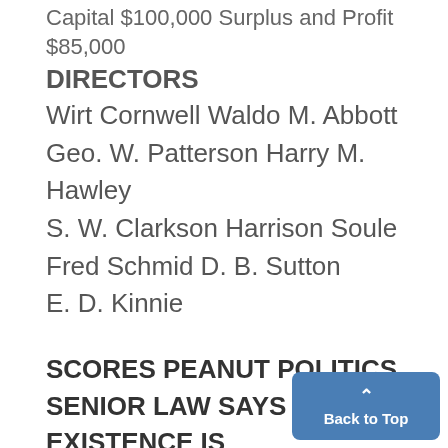Capital $100,000 Surplus and Profit $85,000
DIRECTORS
Wirt Cornwell Waldo M. Abbott
Geo. W. Patterson Harry M. Hawley
S. W. Clarkson Harrison Soule
Fred Schmid D. B. Sutton
E. D. Kinnie
SCORES PEANUT POLITICS SENIOR LAW SAYS EXISTENCE IS DUE PROFESSIONAL SOCIETIES WHO HOG OFFICES.
Editor, The Michigan Daily:
"Peanut Politics" was the subje...